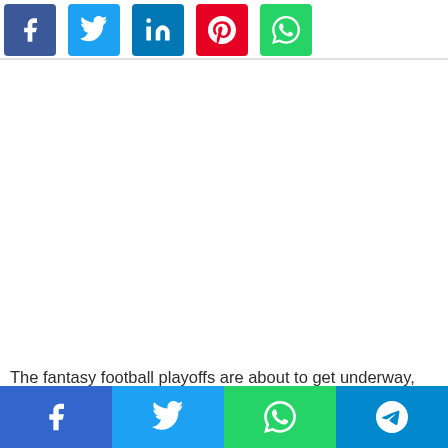[Figure (screenshot): Social media share buttons row: Facebook (blue), Twitter (light blue), LinkedIn (dark blue), Pinterest (red), WhatsApp (green)]
[Figure (screenshot): Large white advertisement or content area placeholder]
The fantasy football playoffs are about to get underway, and owners are going to be monitoring injuries to top
[Figure (screenshot): Bottom social share bar with Facebook, Twitter, WhatsApp, and Telegram buttons]